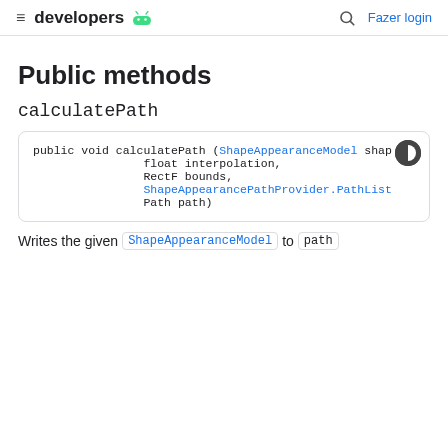≡ developers 🤖  🔍  Fazer login
Public methods
calculatePath
public void calculatePath (ShapeAppearanceModel shap
                float interpolation,
                RectF bounds,
                ShapeAppearancePathProvider.PathList
                Path path)
Writes the given ShapeAppearanceModel to path